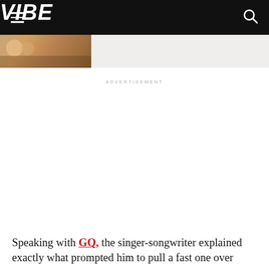VIBE
[Figure (photo): Partial view of a photo showing colorful figures, cropped at top-left of page]
ADVERTISEMENT
Speaking with GQ, the singer-songwriter explained exactly what prompted him to pull a fast one over